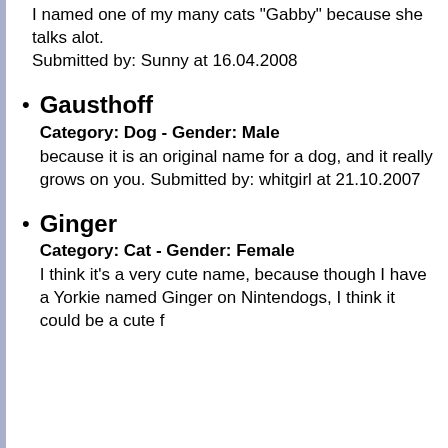I named one of my many cats "Gabby" because she talks alot. Submitted by: Sunny at 16.04.2008
Gausthoff
Category: Dog - Gender: Male
because it is an original name for a dog, and it really grows on you. Submitted by: whitgirl at 21.10.2007
Ginger
Category: Cat - Gender: Female
I think it's a very cute name, because though I have a Yorkie named Ginger on Nintendogs, I think it could be a cute f